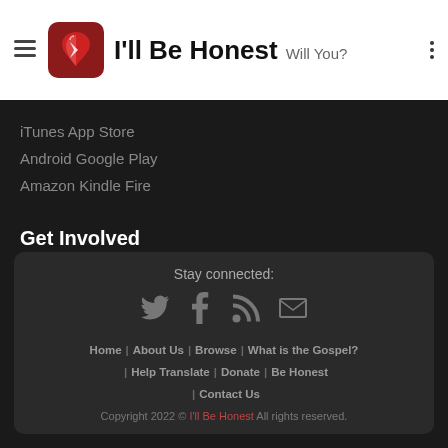I'll Be Honest  Will You?
iTunes App Store
Android Google Play
Amazon Kindle Fire
Get Involved
Submit Sermon Excerpt
Translate Subtitles
Stay connected: | Home | About Us | Browse | What is the Gospel? | Help Translate | Donate | Be Honest | Contact Us | Copyright 2022 © I'll Be Honest All rights reserved.